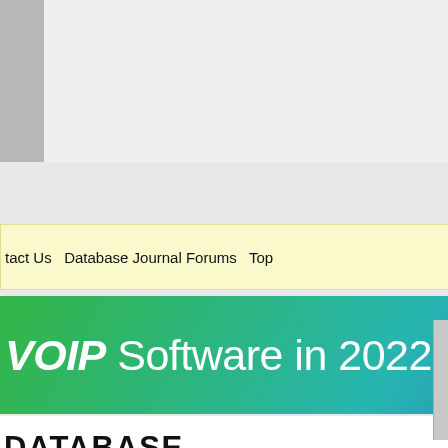[Figure (screenshot): Top gray area with lighter inset panel, partially visible page header region]
tact Us  Database Journal Forums  Top
[Figure (illustration): Advertisement banner: VOIP Software in 2022 with green-to-blue gradient background and See Report button]
[Figure (logo): Database Journal logo with green dots and bold text]
Privacy Notice | Contact Us | Advertise | California - Do Not Sell My Info
© 2022 TechnologyAdvice. All Rights Reserved.
e products that appear on this site are from companies from which asation. This compensation may impact how and where products appear the order in which they appear. TechnologyAdvice does not include all vailable in the marketplace.
times are GMT -5. The time now is 05:49 PM.